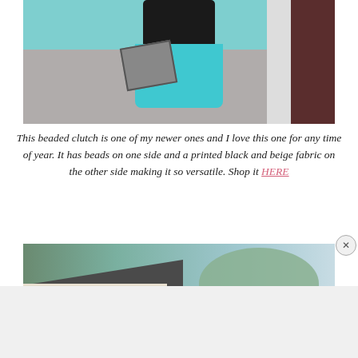[Figure (photo): Fashion photo of a woman wearing a black top and teal/turquoise distressed denim miniskirt, holding a beaded clutch, standing on a sidewalk near a dark red/maroon door]
This beaded clutch is one of my newer ones and I love this one for any time of year. It has beads on one side and a printed black and beige fabric on the other side making it so versatile. Shop it HERE
[Figure (photo): Outdoor photo showing a house rooftop with dark shingles, white-framed window, and snow-covered trees against a light blue-grey sky]
Advertisements
[Figure (screenshot): Orange advertisement banner reading 'Search, browse, and email with more privacy.' with DuckDuckGo logo on dark background]